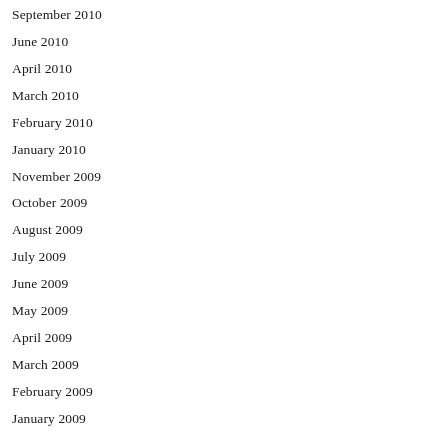September 2010
June 2010
April 2010
March 2010
February 2010
January 2010
November 2009
October 2009
August 2009
July 2009
June 2009
May 2009
April 2009
March 2009
February 2009
January 2009